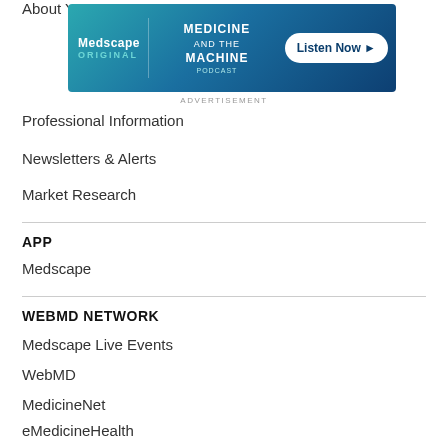[Figure (other): Medscape Original - Medicine and the Machine podcast advertisement banner with 'Listen Now' button]
ADVERTISEMENT
About Y…
Professional Information
Newsletters & Alerts
Market Research
APP
Medscape
WEBMD NETWORK
Medscape Live Events
WebMD
MedicineNet
eMedicineHealth
RxList